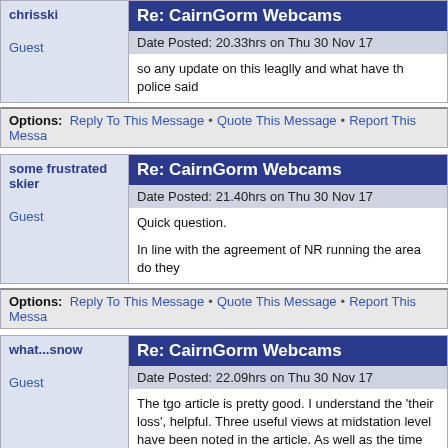chrisski | Guest
Re: CairnGorm Webcams
Date Posted: 20.33hrs on Thu 30 Nov 17
so any update on this leaglly and what have th police said
Options: Reply To This Message • Quote This Message • Report This Message
some frustrated skier | Guest
Re: CairnGorm Webcams
Date Posted: 21.40hrs on Thu 30 Nov 17
Quick question.

In line with the agreement of NR running the area do they
Options: Reply To This Message • Quote This Message • Report This Message
what...snow | Guest
Re: CairnGorm Webcams
Date Posted: 22.09hrs on Thu 30 Nov 17
The tgo article is pretty good. I understand the 'their loss', helpful. Three useful views at midstation level have been noted in the article. As well as the time stamps, their is no

Previously, I would only consider Cairngorm at the extrem overall experience, the usual complaints) but now I won't experience is so dismal as Aviemore has fantastic apres s

Think I would send all links to Cairngorm website to a pag and lift status updates to be available from its website only webcams without consent' or something similar.